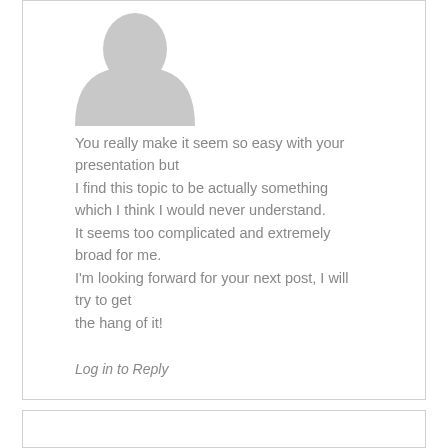[Figure (illustration): Gray placeholder avatar silhouette icon]
You really make it seem so easy with your presentation but I find this topic to be actually something which I think I would never understand. It seems too complicated and extremely broad for me. I'm looking forward for your next post, I will try to get the hang of it!
Log in to Reply